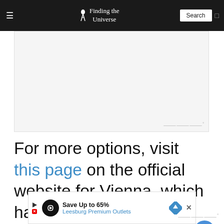Finding the Universe
[Figure (other): Advertisement/image placeholder box with watermark]
For more options, visit this page on the official website for Vienna, which has event listings for every type of musical event, and in particular, classic music lovers will want to check out the Classical Music listings
You can also purchase tickets for live m...
[Figure (other): Bottom advertisement banner: Save Up to 65% - Leesburg Premium Outlets]